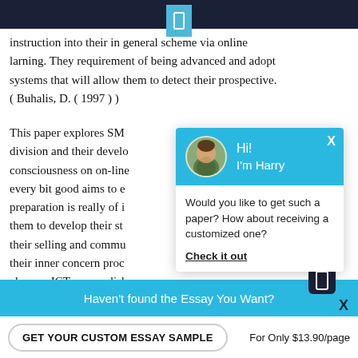instruction into their in general scheme via online larning. They requirement of being advanced and adopt systems that will allow them to detect their prospective. ( Buhalis, D. ( 1997 ) )
This paper explores SMT division and their development consciousness on on-line every bit good aims to examine preparation is really of importance them to develop their strategy their selling and commun their inner concern proc class on ICT accomplishments heighten their growing. The survey shows that SMEs are non utilizing Information engineering in their cont
[Figure (screenshot): Chat popup with avatar of a person named Harry. Header says 'Hi! I'm Harry'. Body text: 'Would you like to get such a paper? How about receiving a customized one?' with a 'Check it out' link.]
Haven't found the Essay You Want?
GET YOUR CUSTOM ESSAY SAMPLE
For Only $13.90/page